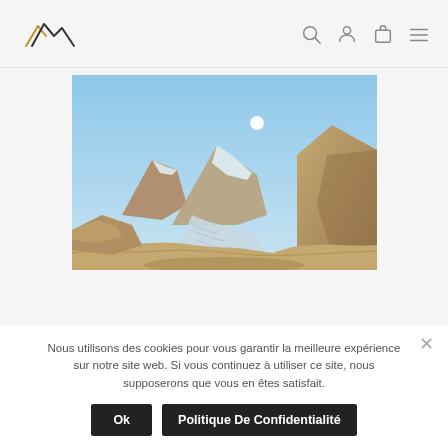Mountain logo and navigation icons (search, account, bag, menu)
[Figure (photo): Mountain glacier landscape with blue sky, snow-covered peaks, rocky terrain, and a small moon visible in the upper sky]
Nous utilisons des cookies pour vous garantir la meilleure expérience sur notre site web. Si vous continuez à utiliser ce site, nous supposerons que vous en êtes satisfait.
Ok  Politique De Confidentialité